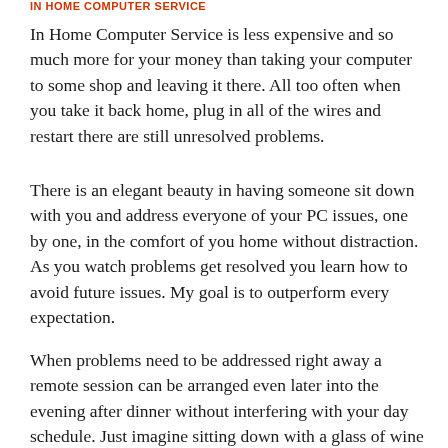IN HOME COMPUTER SERVICE
In Home Computer Service is less expensive and so much more for your money than taking your computer to some shop and leaving it there. All too often when you take it back home, plug in all of the wires and restart there are still unresolved problems.
There is an elegant beauty in having someone sit down with you and address everyone of your PC issues, one by one, in the comfort of you home without distraction. As you watch problems get resolved you learn how to avoid future issues. My goal is to outperform every expectation.
When problems need to be addressed right away a remote session can be arranged even later into the evening after dinner without interfering with your day schedule. Just imagine sitting down with a glass of wine right in front of your computer while I, the technician, work on your